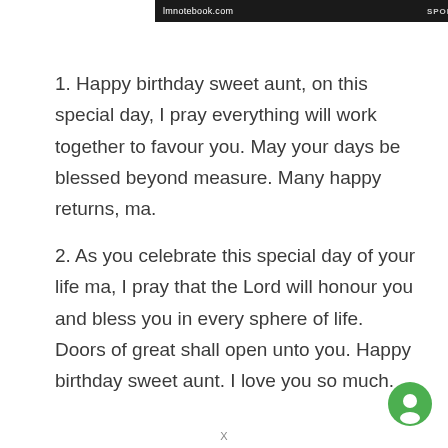lmnotebook.com  SPONSORED
1. Happy birthday sweet aunt, on this special day, I pray everything will work together to favour you. May your days be blessed beyond measure. Many happy returns, ma.
2. As you celebrate this special day of your life ma, I pray that the Lord will honour you and bless you in every sphere of life. Doors of great shall open unto you. Happy birthday sweet aunt. I love you so much.
X